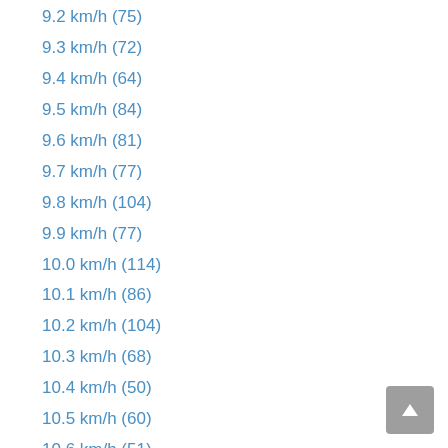9.2 km/h (75)
9.3 km/h (72)
9.4 km/h (64)
9.5 km/h (84)
9.6 km/h (81)
9.7 km/h (77)
9.8 km/h (104)
9.9 km/h (77)
10.0 km/h (114)
10.1 km/h (86)
10.2 km/h (104)
10.3 km/h (68)
10.4 km/h (50)
10.5 km/h (60)
10.6 km/h (51)